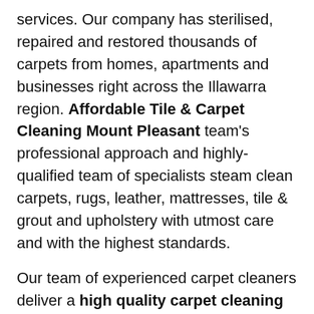services. Our company has sterilised, repaired and restored thousands of carpets from homes, apartments and businesses right across the Illawarra region. Affordable Tile & Carpet Cleaning Mount Pleasant team's professional approach and highly-qualified team of specialists steam clean carpets, rugs, leather, mattresses, tile & grout and upholstery with utmost care and with the highest standards.
Our team of experienced carpet cleaners deliver a high quality carpet cleaning in Mount Pleasant. No job is too basic or complex for us and our prices are very competitive.
Best carpet cleaners in Mount Pleasant!
We are available 24 hours, 7 days.
So what are you waiting for? Call us today!